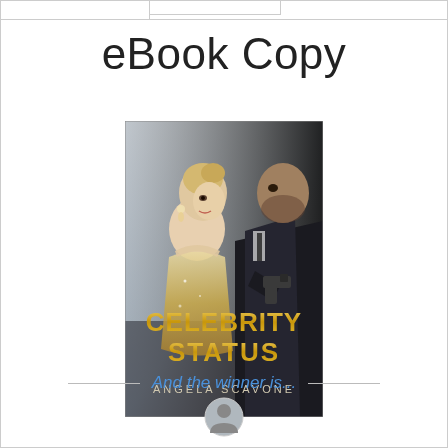eBook Copy
[Figure (photo): Book cover for 'Celebrity Status' by Angela Scavone. Shows a woman in a sparkly gown viewed from behind, looking over her shoulder, and a man in a suit holding a gun. Gold title text reads CELEBRITY STATUS, author name ANGELA SCAVONE at bottom.]
And the winner is...
[Figure (photo): Partial circular avatar/profile image visible at the bottom of the page.]